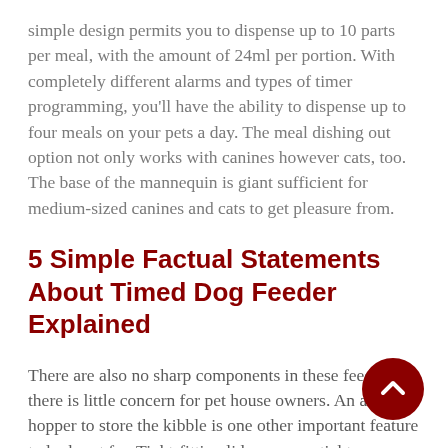simple design permits you to dispense up to 10 parts per meal, with the amount of 24ml per portion. With completely different alarms and types of timer programming, you'll have the ability to dispense up to four meals on your pets a day. The meal dishing out option not only works with canines however cats, too. The base of the mannequin is giant sufficient for medium-sized canines and cats to get pleasure from.
5 Simple Factual Statements About Timed Dog Feeder Explained
There are also no sharp components in these feeders, so there is little concern for pet house owners. An air-tight hopper to store the kibble is one other important feature to look out for. Tight-fitting lids are essential to forestall the meals from spoiling and preserving ants and other bugs out. Pay consideration to the wire size,